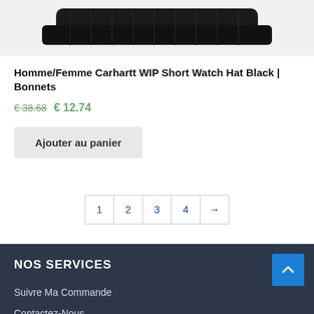[Figure (photo): Black knit beanie hat (Carhartt WIP Short Watch Hat) on a light gray background]
Homme/Femme Carhartt WIP Short Watch Hat Black | Bonnets
€ 38.68  € 12.74
Ajouter au panier
1  2  3  4  →
NOS SERVICES
Suivre Ma Commande
Contactez-Nous